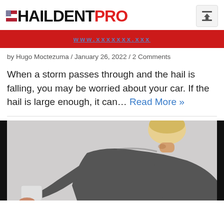HAILDENTPRO
by Hugo Moctezuma / January 26, 2022 / 2 Comments
When a storm passes through and the hail is falling, you may be worried about your car. If the hail is large enough, it can… Read More »
[Figure (photo): Person in dark grey long-sleeve shirt working with a small block tool, leaning forward, viewed from slightly above. Background is light grey.]